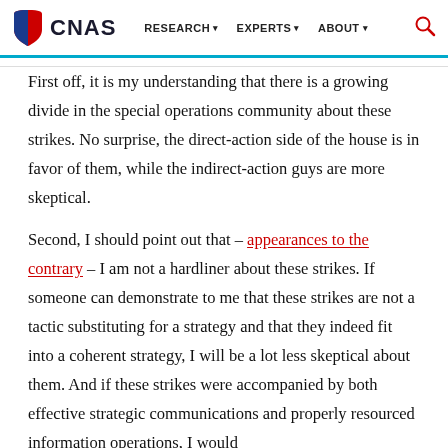CNAS  RESEARCH  EXPERTS  ABOUT
First off, it is my understanding that there is a growing divide in the special operations community about these strikes. No surprise, the direct-action side of the house is in favor of them, while the indirect-action guys are more skeptical.
Second, I should point out that -- appearances to the contrary -- I am not a hardliner about these strikes. If someone can demonstrate to me that these strikes are not a tactic substituting for a strategy and that they indeed fit into a coherent strategy, I will be a lot less skeptical about them. And if these strikes were accompanied by both effective strategic communications and properly resourced information operations, I would